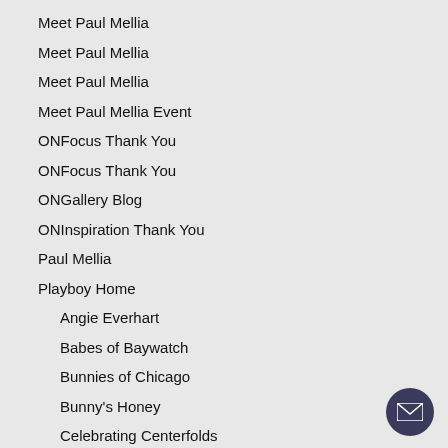Meet Paul Mellia
Meet Paul Mellia
Meet Paul Mellia
Meet Paul Mellia Event
ONFocus Thank You
ONFocus Thank You
ONGallery Blog
ONInspiration Thank You
Paul Mellia
Playboy Home
Angie Everhart
Babes of Baywatch
Bunnies of Chicago
Bunny's Honey
Celebrating Centerfolds
Cover Girl